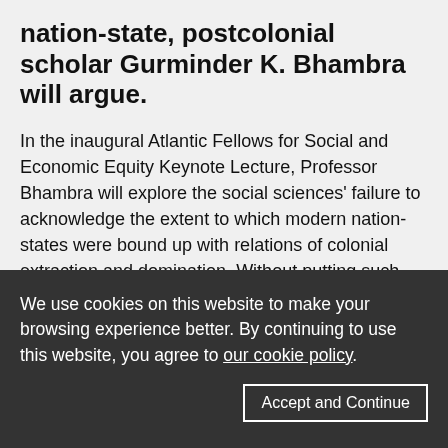nation-state, postcolonial scholar Gurminder K. Bhambra will argue.
In the inaugural Atlantic Fellows for Social and Economic Equity Keynote Lecture, Professor Bhambra will explore the social sciences' failure to acknowledge the extent to which modern nation-states were bound up with relations of colonial extraction and domination. Without putting such relations at the heart of our analyses, we cannot address global inequality effectively. Positing colonial histories as central to national imaginaries and the structures through which inequalities are legitimated and reproduced, she will explore a framework for a reparatory social science, oriented
We use cookies on this website to make your browsing experience better. By continuing to use this website, you agree to our cookie policy.